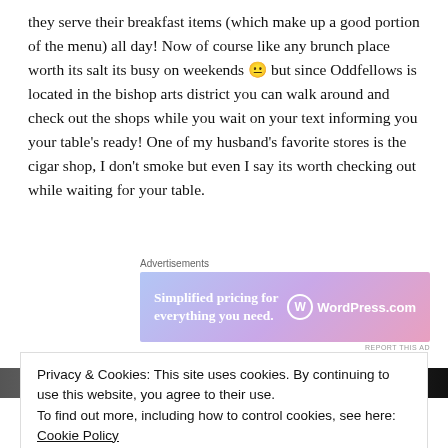they serve their breakfast items (which make up a good portion of the menu) all day! Now of course like any brunch place worth its salt its busy on weekends 😐 but since Oddfellows is located in the bishop arts district you can walk around and check out the shops while you wait on your text informing you your table's ready! One of my husband's favorite stores is the cigar shop, I don't smoke but even I say its worth checking out while waiting for your table.
Advertisements
[Figure (other): WordPress.com advertisement banner with gradient background (blue to purple to pink) showing text 'Simplified pricing for everything you need.' and WordPress.com logo]
[Figure (photo): Dark photo strip showing a blurred scene, partially obscured by cookie consent banner]
Privacy & Cookies: This site uses cookies. By continuing to use this website, you agree to their use.
To find out more, including how to control cookies, see here: Cookie Policy